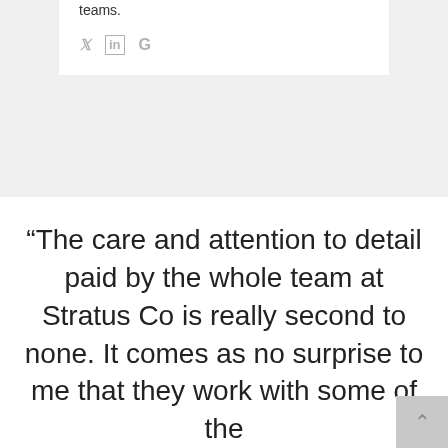teams.
[Figure (other): Social media icons: Twitter (bird icon), LinkedIn (in icon), Google (G icon) in light gray]
“The care and attention to detail paid by the whole team at Stratus Co is really second to none. It comes as no surprise to me that they work with some of the